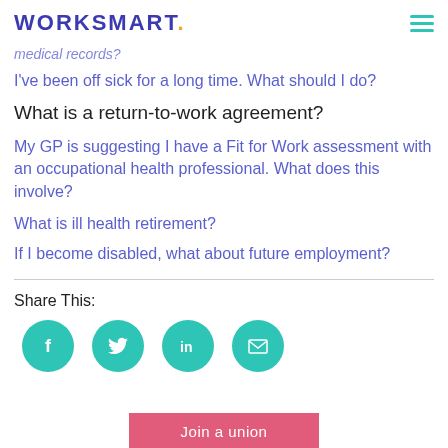WORKSMART.
medical records?
I've been off sick for a long time. What should I do?
What is a return-to-work agreement?
My GP is suggesting I have a Fit for Work assessment with an occupational health professional. What does this involve?
What is ill health retirement?
If I become disabled, what about future employment?
Share This:
Join a union